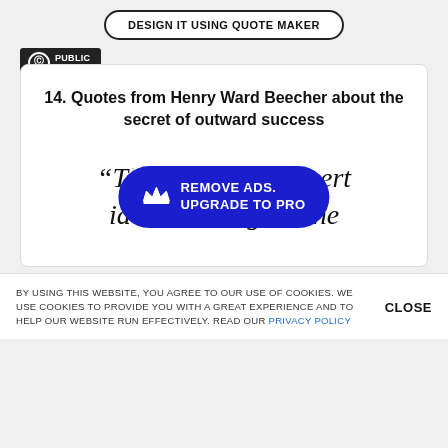[Figure (screenshot): Button with rounded border: DESIGN IT USING QUOTE MAKER]
[Figure (logo): Public Domain badge with CC circle icon]
14. Quotes from Henry Ward Beecher about the secret of outward success
“T...ert ideas to things is the
[Figure (infographic): REMOVE ADS. UPGRADE TO PRO button overlay with crown icon]
BY USING THIS WEBSITE, YOU AGREE TO OUR USE OF COOKIES. WE USE COOKIES TO PROVIDE YOU WITH A GREAT EXPERIENCE AND TO HELP OUR WEBSITE RUN EFFECTIVELY. READ OUR PRIVACY POLICY
CLOSE